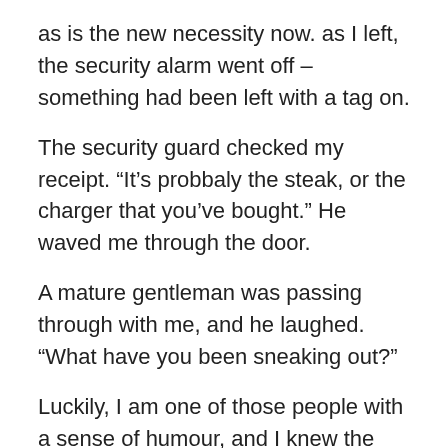as is the new necessity now. as I left, the security alarm went off – something had been left with a tag on.
The security guard checked my receipt. “It’s probbaly the steak, or the charger that you’ve bought.” He waved me through the door.
A mature gentleman was passing through with me, and he laughed. “What have you been sneaking out?”
Luckily, I am one of those people with a sense of humour, and I knew the man was joking. So I said, “It’s either my dinner or the lifeblood for my daughter.” (Replacement charger for her phone… would have been a tragedy if I’d forgotten!)
He walked with me for a second, then started chatting about all sorts, from his hatred of modern technology, to